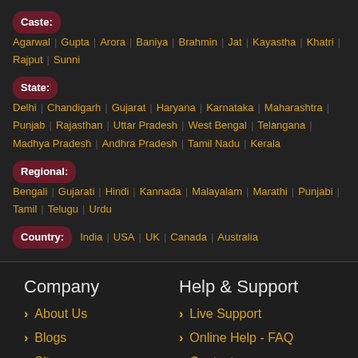Caste: Agarwal | Gupta | Arora | Baniya | Brahmin | Jat | Kayastha | Khatri | Rajput | Sunni
State: Delhi | Chandigarh | Gujarat | Haryana | Karnataka | Maharashtra | Punjab | Rajasthan | Uttar Pradesh | West Bengal | Telangana | Madhya Pradesh | Andhra Pradesh | Tamil Nadu | Kerala
Regional: Bengali | Gujarati | Hindi | Kannada | Malayalam | Marathi | Punjabi | Tamil | Telugu | Urdu
Country: India | USA | UK | Canada | Australia
Company
Help & Support
About Us
Live Support
Blogs
Online Help - FAQ
Sitemap
Contact us